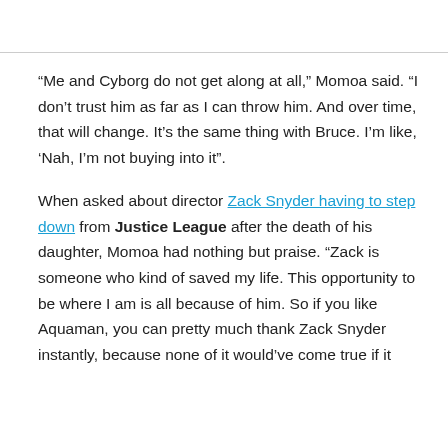“Me and Cyborg do not get along at all,” Momoa said. “I don’t trust him as far as I can throw him. And over time, that will change. It’s the same thing with Bruce. I’m like, ‘Nah, I’m not buying into it”.
When asked about director Zack Snyder having to step down from Justice League after the death of his daughter, Momoa had nothing but praise. “Zack is someone who kind of saved my life. This opportunity to be where I am is all because of him. So if you like Aquaman, you can pretty much thank Zack Snyder instantly, because none of it would’ve come true if it wasn’t for him.